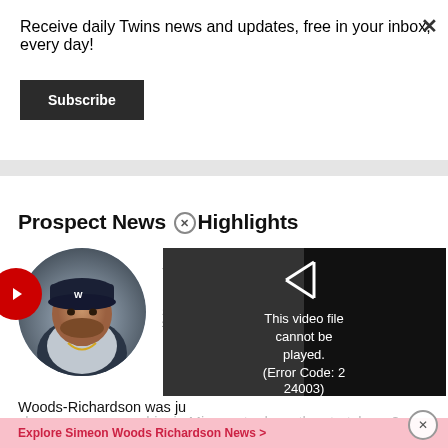Receive daily Twins news and updates, free in your inbox, every day!
Subscribe
Prospect News & Highlights
[Figure (photo): Circular portrait photo of baseball player Simeon Woods-Richardson wearing a dark cap with 'US' logo]
St.
SP
[Figure (screenshot): Video player showing error: This video file cannot be played. (Error Code: 2 24003)]
Woods-Richardson was ju
chance we can see him in Minnesota down the stretch run?
Explore Simeon Woods Richardson News >